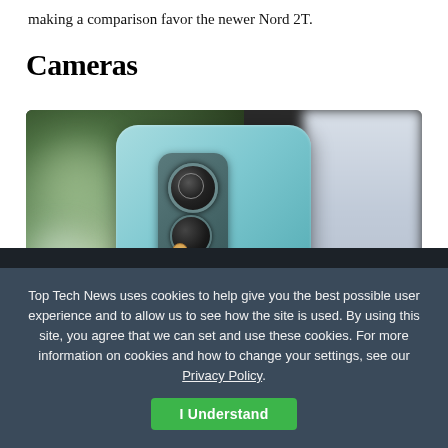making a comparison favor the newer Nord 2T.
Cameras
[Figure (photo): Back view of a light blue OnePlus smartphone showing triple camera module with OnePlus logo, photographed against a blurred green bokeh background with a blurred white/grey background on the right side. Watermark '9TO5Google' in bottom right corner. Blue heart/favorite button in bottom right of image.]
Top Tech News uses cookies to help give you the best possible user experience and to allow us to see how the site is used. By using this site, you agree that we can set and use these cookies. For more information on cookies and how to change your settings, see our Privacy Policy.
I Understand